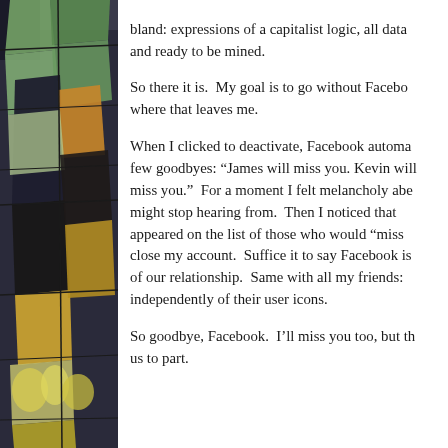[Figure (illustration): Decorative stained glass or mosaic artwork on the left margin showing figures with colored robes in green, gold, and dark tones, with floral motifs at the bottom.]
bland: expressions of a capitalist logic, all data and ready to be mined.

So there it is.  My goal is to go without Facebook where that leaves me.

When I clicked to deactivate, Facebook automa few goodbyes: “James will miss you. Kevin will miss you.”  For a moment I felt melancholy abe might stop hearing from.  Then I noticed that appeared on the list of those who would “miss close my account.  Suffice it to say Facebook is of our relationship.  Same with all my friends: independently of their user icons.

So goodbye, Facebook.  I’ll miss you too, but th us to part.